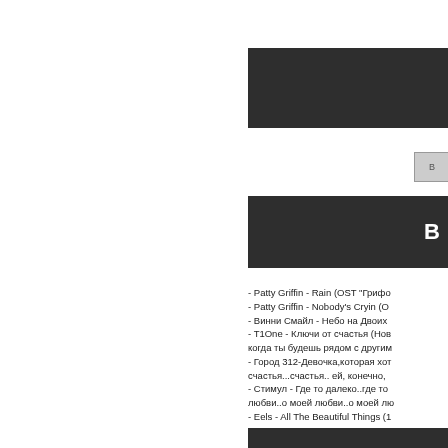[Figure (other): Dark header banner bar at top right]
[Figure (other): Small broken image placeholder icon]
В
- Patty Griffin - Rain (OST "Грифо
- Patty Griffin - Nobody's Cryin (О
- Винни Смайл - Небо на Двоих
- T1One - Ключи от счастья (Нов когда ты будешь рядом с другим
- Город 312-Девочка,которая хот счастья...счастья.. ей, конечно,
- Стимул - Где то далеко..где то любви..о моей любви..о моей лю
- Eels - All The Beautiful Things (1
- СТ ST - Феникс
[Figure (other): Dark footer banner bar at bottom right]